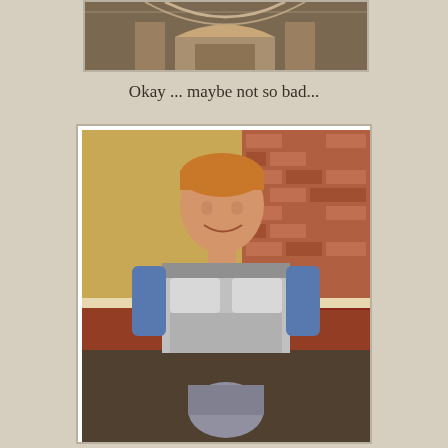[Figure (photo): Partial photo at the top of the page showing what appears to be decorative or architectural detail with warm colors, cropped at the top edge]
Okay ... maybe not so bad...
[Figure (photo): Photo of a smiling young boy with blonde hair wearing a costume that appears to be armor (possibly Star Wars clone trooper or similar), standing in front of a brick fireplace]